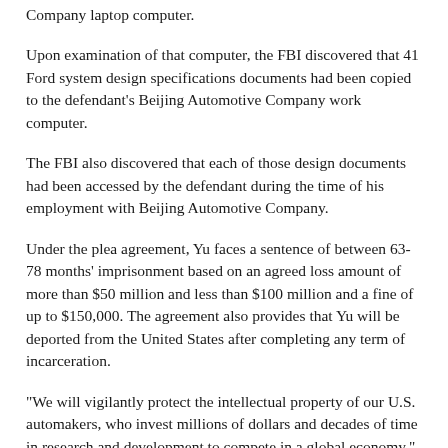Company laptop computer.
Upon examination of that computer, the FBI discovered that 41 Ford system design specifications documents had been copied to the defendant's Beijing Automotive Company work computer.
The FBI also discovered that each of those design documents had been accessed by the defendant during the time of his employment with Beijing Automotive Company.
Under the plea agreement, Yu faces a sentence of between 63-78 months' imprisonment based on an agreed loss amount of more than $50 million and less than $100 million and a fine of up to $150,000. The agreement also provides that Yu will be deported from the United States after completing any term of incarceration.
"We will vigilantly protect the intellectual property of our U.S. automakers, who invest millions of dollars and decades of time in research and development to compete in a global economy," McQuade said. "Those who do not play by the